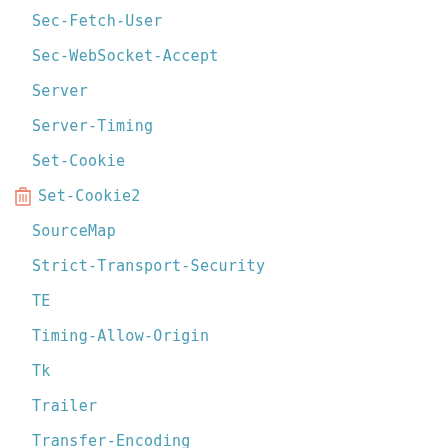Sec-Fetch-User
Sec-WebSocket-Accept
Server
Server-Timing
Set-Cookie
Set-Cookie2
SourceMap
Strict-Transport-Security
TE
Timing-Allow-Origin
Tk
Trailer
Transfer-Encoding
Upgrade-Insecure-Requests